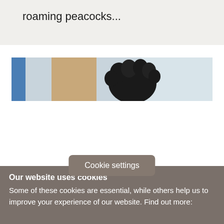roaming peacocks...
[Figure (photo): Partial photograph showing a person with dark curly hair in front of a window with blue and beige/tan elements visible]
Cookie settings
Our website uses cookies
Some of these cookies are essential, while others help us to improve your experience of our website. Find out more: